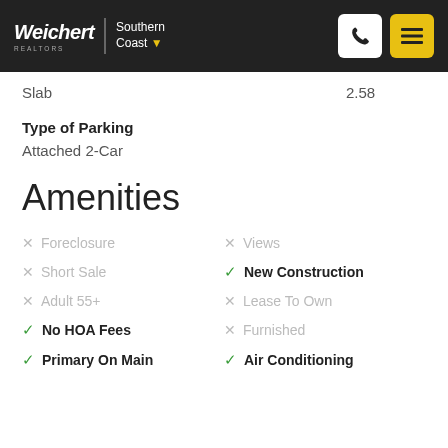Weichert Realtors | Southern Coast
Slab    2.58
Type of Parking
Attached 2-Car
Amenities
× Foreclosure
× Views
× Short Sale
✓ New Construction
× Adult 55+
× Lease To Own
✓ No HOA Fees
× Furnished
✓ Primary On Main
✓ Air Conditioning